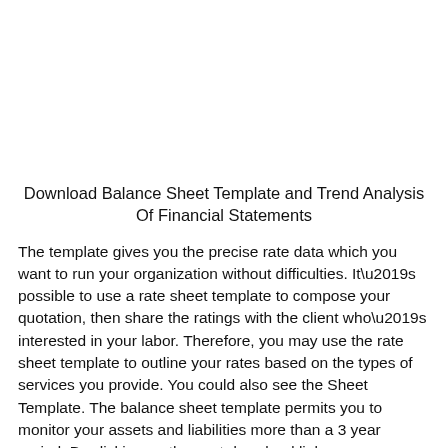Download Balance Sheet Template and Trend Analysis Of Financial Statements
The template gives you the precise rate data which you want to run your organization without difficulties. It’s possible to use a rate sheet template to compose your quotation, then share the ratings with the client who’s interested in your labor. Therefore, you may use the rate sheet template to outline your rates based on the types of services you provide. You could also see the Sheet Template. The balance sheet template permits you to monitor your assets and liabilities more than a 3 year period. By clicking on the next download link you may download balance sheet template at no cost. Obtaining and utilizing our no-cost simple balance sheet template couldn’t be any easier.